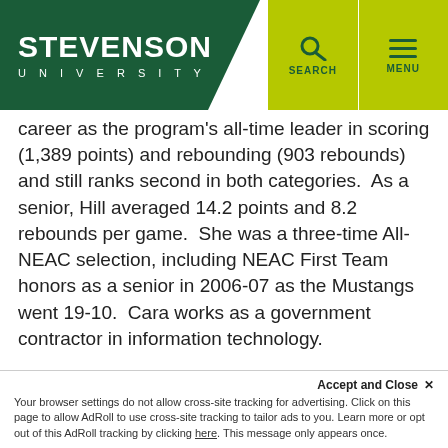STEVENSON UNIVERSITY
career as the program's all-time leader in scoring (1,389 points) and rebounding (903 rebounds) and still ranks second in both categories.  As a senior, Hill averaged 14.2 points and 8.2 rebounds per game.  She was a three-time All-NEAC selection, including NEAC First Team honors as a senior in 2006-07 as the Mustangs went 19-10.  Cara works as a government contractor in information technology.
The induction banquet and ceremony will be held on Saturday, October 20 during Homecoming weekend.  Joining the three women will be three men -- baseball's Anthony DeFrancisco '05,  men's soccer's Steve Montalvo '02, and Dan Velez '03 of men's lacrosse, as well as former coach Jeb Barber '02, who will be in...
Accept and Close ✕ Your browser settings do not allow cross-site tracking for advertising. Click on this page to allow AdRoll to use cross-site tracking to tailor ads to you. Learn more or opt out of this AdRoll tracking by clicking here. This message only appears once.